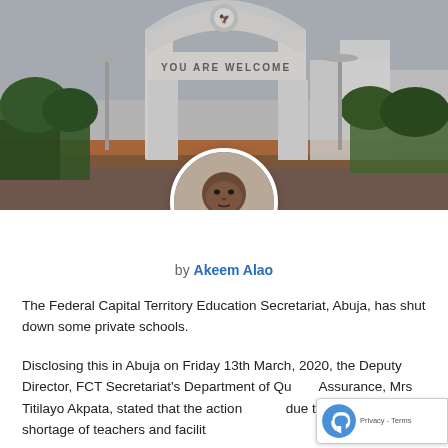[Figure (photo): Background photo of a government building entrance gate in Abuja with 'YOU ARE WELCOME' text and Nigerian coat of arms, with a circular profile photo of a man (Akeem Alao) in a suit overlaid at the bottom center]
by Akeem Alao
The Federal Capital Territory Education Secretariat, Abuja, has shut down some private schools.
Disclosing this in Abuja on Friday 13th March, 2020, the Deputy Director, FCT Secretariat's Department of Quality Assurance, Mrs Titilayo Akpata, stated that the action was due to poor standard, shortage of teachers and facilit...